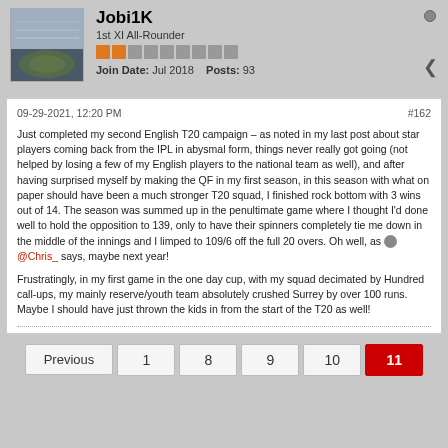Jobi1K
1st XI All-Rounder
Join Date: Jul 2018   Posts: 93
09-29-2021, 12:20 PM
#162
Just completed my second English T20 campaign – as noted in my last post about star players coming back from the IPL in abysmal form, things never really got going (not helped by losing a few of my English players to the national team as well), and after having surprised myself by making the QF in my first season, in this season with what on paper should have been a much stronger T20 squad, I finished rock bottom with 3 wins out of 14. The season was summed up in the penultimate game where I thought I'd done well to hold the opposition to 139, only to have their spinners completely tie me down in the middle of the innings and I limped to 109/6 off the full 20 overs. Oh well, as @Chris_ says, maybe next year!
Frustratingly, in my first game in the one day cup, with my squad decimated by Hundred call-ups, my mainly reserve/youth team absolutely crushed Surrey by over 100 runs. Maybe I should have just thrown the kids in from the start of the T20 as well!
Previous  1  8  9  10  11